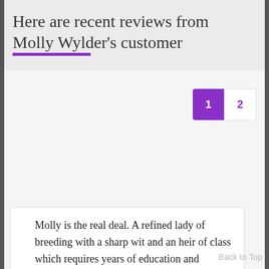Here are recent reviews from Molly Wylder's customer
1  2
Molly is the real deal. A refined lady of breeding with a sharp wit and an heir of class which requires years of education and refinement to cultivate.
On top of that, she is a giant nerd. You cannot fake that love
Back to Top